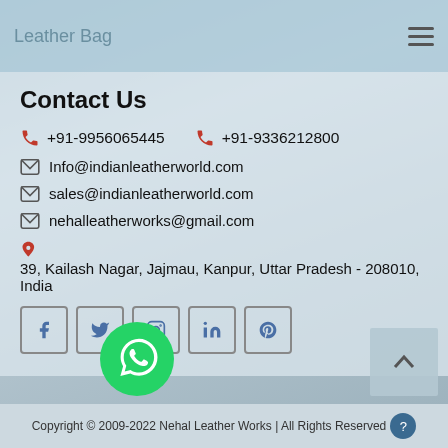Leather Bag
Contact Us
+91-9956065445   +91-9336212800
Info@indianleatherworld.com
sales@indianleatherworld.com
nehalleatherworks@gmail.com
39, Kailash Nagar, Jajmau, Kanpur, Uttar Pradesh - 208010, India
[Figure (infographic): Social media icon buttons: Facebook, Twitter, Instagram, LinkedIn, Pinterest]
[Figure (logo): WhatsApp green circle icon]
Copyright © 2009-2022 Nehal Leather Works | All Rights Reserved